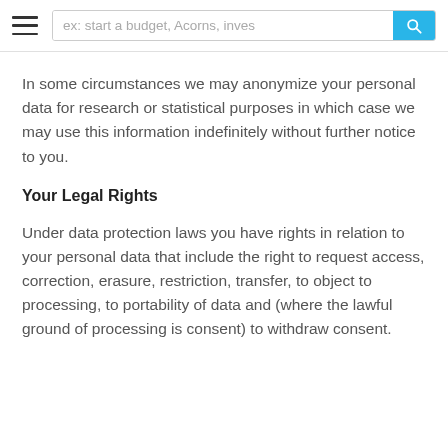ex: start a budget, Acorns, inves
In some circumstances we may anonymize your personal data for research or statistical purposes in which case we may use this information indefinitely without further notice to you.
Your Legal Rights
Under data protection laws you have rights in relation to your personal data that include the right to request access, correction, erasure, restriction, transfer, to object to processing, to portability of data and (where the lawful ground of processing is consent) to withdraw consent.